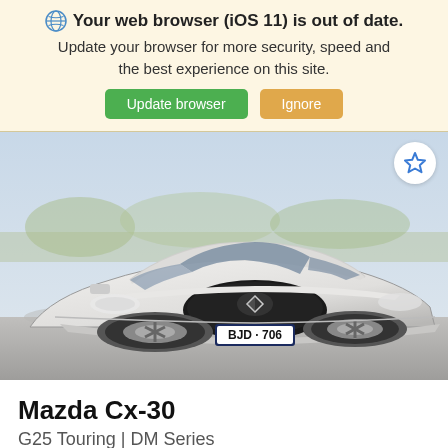🌐 Your web browser (iOS 11) is out of date. Update your browser for more security, speed and the best experience on this site.
Update browser | Ignore
[Figure (photo): White Mazda CX-30 SUV (G25 Touring DM Series) facing front-left, license plate BJD 706, with a star/bookmark icon in the top-right corner of the image.]
Mazda Cx-30
G25 Touring | DM Series